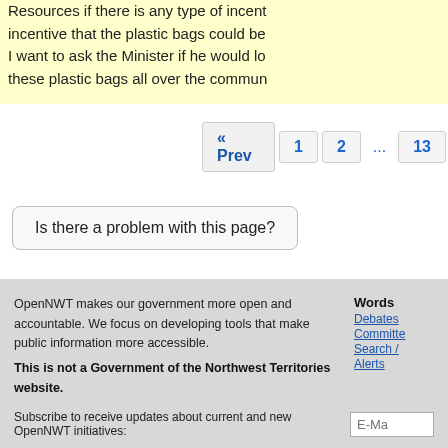Resources if there is any type of incent incentive that the plastic bags could be I want to ask the Minister if he would lo these plastic bags all over the commun
« Prev  1  2  ...  13
Is there a problem with this page?
OpenNWT makes our government more open and accountable. We focus on developing tools that make public information more accessible.
This is not a Government of the Northwest Territories website.
Words Debates Committe Search / Alerts
Subscribe to receive updates about current and new OpenNWT initiatives: E-Ma